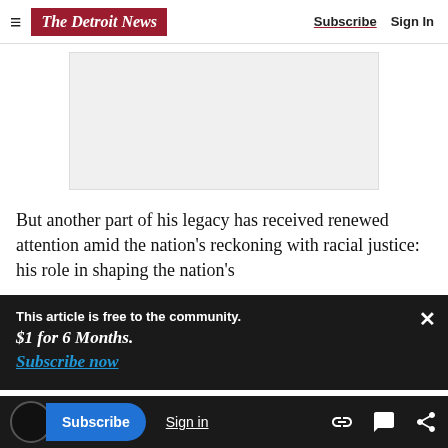The Detroit News | Subscribe | Sign In
[Figure (other): Advertisement placeholder gray rectangle]
But another part of his legacy has received renewed attention amid the nation's reckoning with racial justice: his role in shaping the nation's
This article is free to the community.
$1 for 6 Months.
Subscribe now
justified forcibly removing tribes from their lands
Subscribe | Sign in